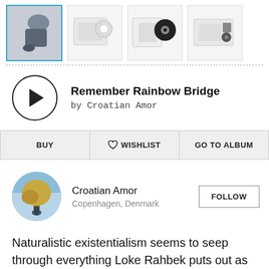[Figure (screenshot): Row of 4 album thumbnails for Remember Rainbow Bridge by Croatian Amor. First thumbnail is selected (highlighted blue border).]
[Figure (screenshot): Music player with circular play button, album title 'Remember Rainbow Bridge' and 'by Croatian Amor']
[Figure (screenshot): Action buttons row: BUY, WISHLIST (with heart icon), GO TO ALBUM]
[Figure (screenshot): Artist profile: Croatian Amor, Copenhagen, Denmark, with circular avatar photo and FOLLOW button]
Naturalistic existentialism seems to seep through everything Loke Rahbek puts out as Croatian Amor.